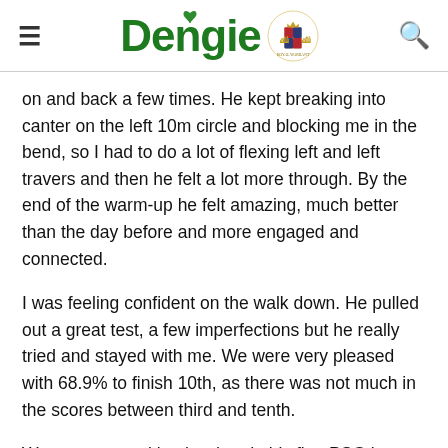Dengie [logo with royal crest]
on and back a few times. He kept breaking into canter on the left 10m circle and blocking me in the bend, so I had to do a lot of flexing left and left travers and then he felt a lot more through. By the end of the warm-up he felt amazing, much better than the day before and more engaged and connected.
I was feeling confident on the walk down. He pulled out a great test, a few imperfections but he really tried and stayed with me. We were very pleased with 68.9% to finish 10th, as there was not much in the scores between third and tenth.
We are now working hard to do his first PSG in three weeks